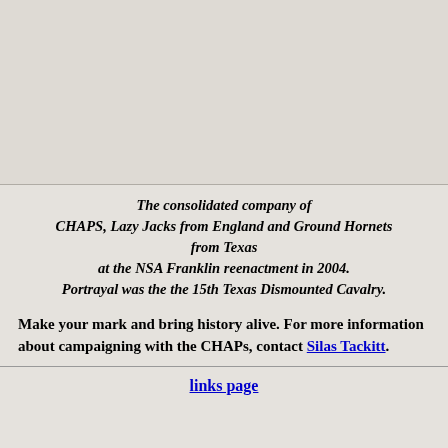[Figure (photo): Image of consolidated company of CHAPS, Lazy Jacks from England and Ground Hornets from Texas at the NSA Franklin reenactment in 2004 (top portion of page)]
The consolidated company of CHAPS, Lazy Jacks from England and Ground Hornets from Texas at the NSA Franklin reenactment in 2004. Portrayal was the the 15th Texas Dismounted Cavalry.
Make your mark and bring history alive. For more information about campaigning with the CHAPs, contact Silas Tackitt.
links page